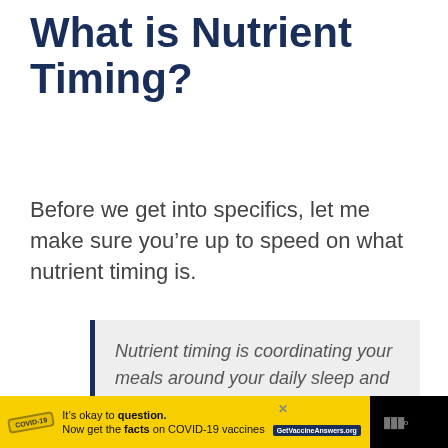What is Nutrient Timing?
Before we get into specifics, let me make sure you’re up to speed on what nutrient timing is.
Nutrient timing is coordinating your meals around your daily sleep and activity cycle. Usually, with the goal of losing fat or gaining muscle.
[Figure (other): Advertisement banner: yellow background with stamp graphic and text 'It’s okay to question. Now get the facts on COVID-19 vaccines GetVaccineAnswers.org' on black bar background with close button and logo]